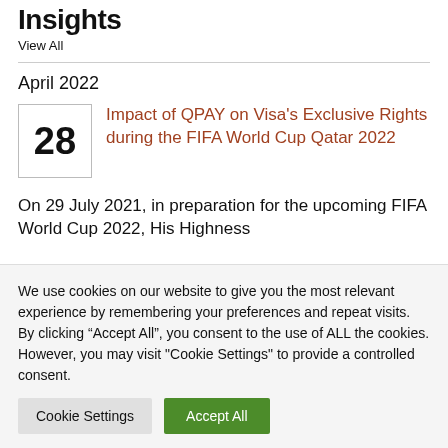Insights
View All
April 2022
Impact of QPAY on Visa’s Exclusive Rights during the FIFA World Cup Qatar 2022
On 29 July 2021, in preparation for the upcoming FIFA World Cup 2022, His Highness
We use cookies on our website to give you the most relevant experience by remembering your preferences and repeat visits. By clicking “Accept All”, you consent to the use of ALL the cookies. However, you may visit "Cookie Settings" to provide a controlled consent.